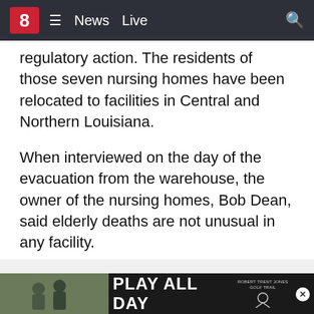8 News Live
regulatory action. The residents of those seven nursing homes have been relocated to facilities in Central and Northern Louisiana.
When interviewed on the day of the evacuation from the warehouse, the owner of the nursing homes, Bob Dean, said elderly deaths are not unusual in any facility.
[Figure (other): Advertisement placeholder area with gray background and ADVERTISEMENT label]
“Normally, we lose two to three a day because they are very ill, [and] they are as sick as they could. I’m the r from T...
[Figure (other): Bottom advertisement banner: photo of people on left, PLAY ALL DAY text in center, Robert Trent Jones Golf Trail logo on right, with close button]